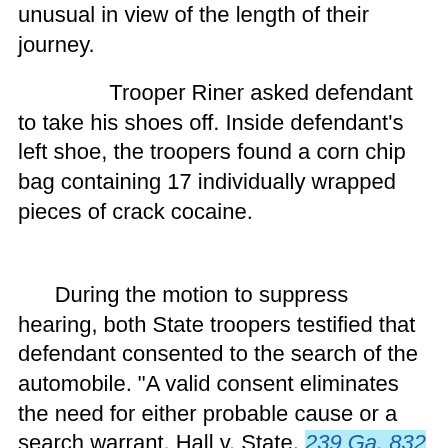unusual in view of the length of their journey.
Trooper Riner asked defendant to take his shoes off. Inside defendant's left shoe, the troopers found a corn chip bag containing 17 individually wrapped pieces of crack cocaine.
During the motion to suppress hearing, both State troopers testified that defendant consented to the search of the automobile. "A valid consent eliminates the need for either probable cause or a search warrant. Hall v. State, 239 Ga. 832 (238 SE2d 912) (1977)." Dean v. State, 250 Ga. 77, 80 (295 SE2d 306). While defendant testified that he did not consent to the search of the automobile, the trial judge of the automobile,